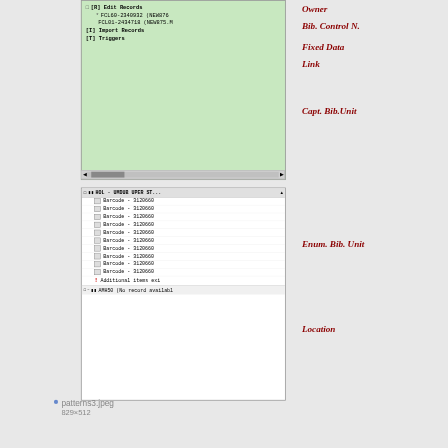[Figure (screenshot): Software interface showing a tree view with Edit Records, Import Records, Triggers nodes and a list of HOL barcodes with scrollbar]
Owner
Bib. Control N.
Fixed Data
Link
Capt. Bib.Unit
Enum. Bib. Unit
Location
patterns3.jpeg
829×512